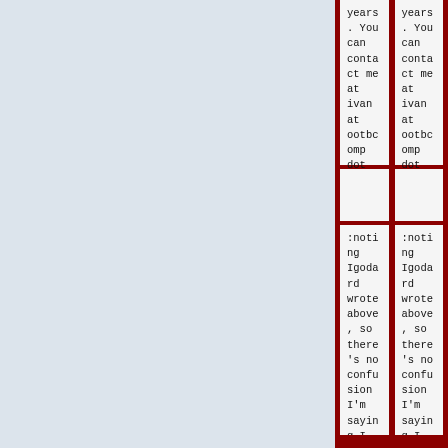years. You can contact me at ivan at ootbcomp dot com.
years. You can contact me at ivan at ootbcomp dot com.
:noting Igodard wrote above, so there's no confusion I'm saying I wrote the [[:en:CANDE]] MCS. [[Special:Contributions/198.255.198.157|198.255.198.157]] ([[User
:noting Igodard wrote above, so there's no confusion I'm saying I wrote the [[:en:CANDE]] MCS. [[Special:Contributions/198.255.198.157|198.255.198.157]] ([[User